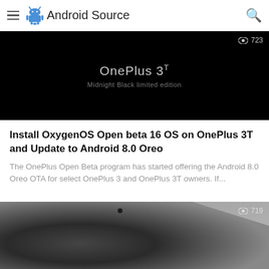Android Source
[Figure (screenshot): Dark promotional image for OnePlus 3T Midnight Black limited edition with view count 723]
Install OxygenOS Open beta 16 OS on OnePlus 3T and Update to Android 8.0 Oreo
The OnePlus Open Beta program has started offering the Android 8.0 Oreo OTA for select OnePlus 3 and OnePlus 3T owners. If...
[Figure (photo): Close-up photo of a dark smartphone (OnePlus device) with view count 719]